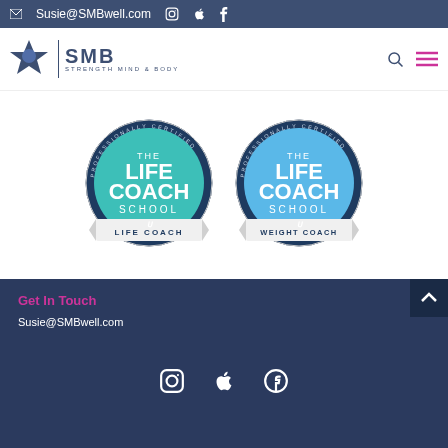Susie@SMBwell.com
[Figure (logo): SMB Strength Mind & Body logo with star icon]
[Figure (illustration): Two circular Life Coach School badges: one for Life Coach (teal) and one for Weight Coach (light blue)]
Get In Touch
Susie@SMBwell.com
Social media icons: Instagram, Apple, Facebook